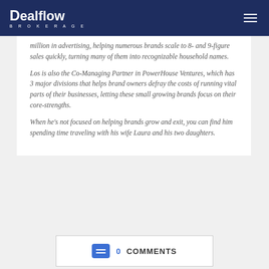Dealflow BROKERAGE
million in advertising, helping numerous brands scale to 8- and 9-figure sales quickly, turning many of them into recognizable household names.
Los is also the Co-Managing Partner in PowerHouse Ventures, which has 3 major divisions that helps brand owners defray the costs of running vital parts of their businesses, letting these small growing brands focus on their core-strengths.
When he's not focused on helping brands grow and exit, you can find him spending time traveling with his wife Laura and his two daughters.
0 COMMENTS